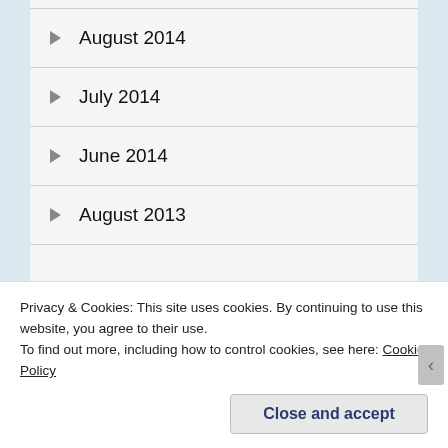August 2014
July 2014
June 2014
August 2013
BLOGS I FOLLOW
[Figure (illustration): Two blog thumbnail images side by side: left is grey with a circular logo, right is pink with a rose line drawing]
Privacy & Cookies: This site uses cookies. By continuing to use this website, you agree to their use.
To find out more, including how to control cookies, see here: Cookie Policy
Close and accept